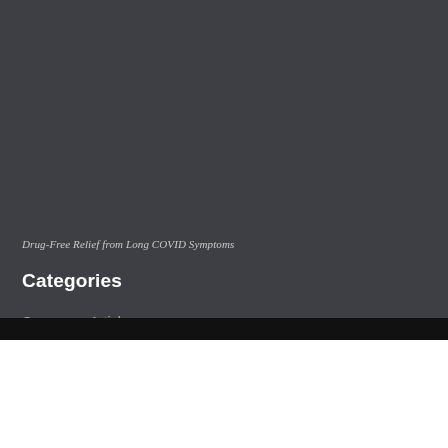Drug-Free Relief from Long COVID Symptoms
Categories
Consumer Articles